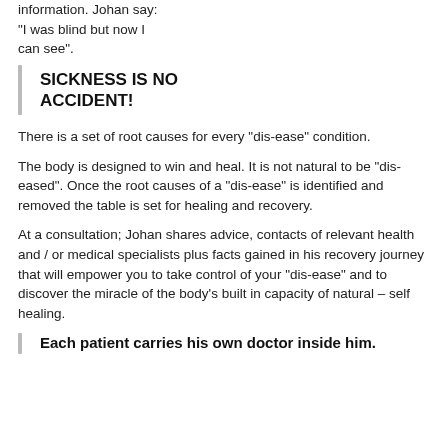information. Johan say: “I was blind but now I can see”.
SICKNESS IS NO ACCIDENT!
There is a set of root causes for every “dis-ease” condition.
The body is designed to win and heal. It is not natural to be “dis-eased”. Once the root causes of a “dis-ease” is identified and removed the table is set for healing and recovery.
At a consultation; Johan shares advice, contacts of relevant health and / or medical specialists plus facts gained in his recovery journey that will empower you to take control of your “dis-ease” and to discover the miracle of the body’s built in capacity of natural – self healing.
Each patient carries his own doctor inside him.